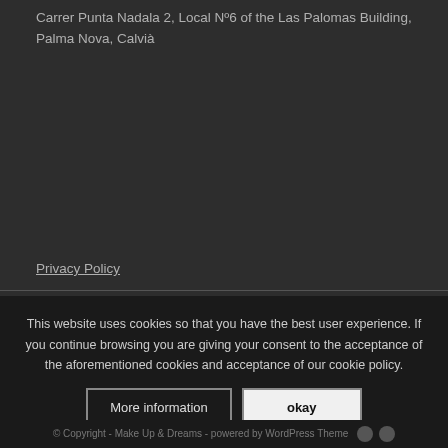Carrer Punta Nadala 2, Local Nº6 of the Las Palomas Building, Palma Nova, Calvià
Privacy Policy
This website uses cookies so that you have the best user experience. If you continue browsing you are giving your consent to the acceptance of the aforementioned cookies and acceptance of our cookie policy.
More information
okay
© Copyright - Make Up & Dreams - powered by WordPress Theme